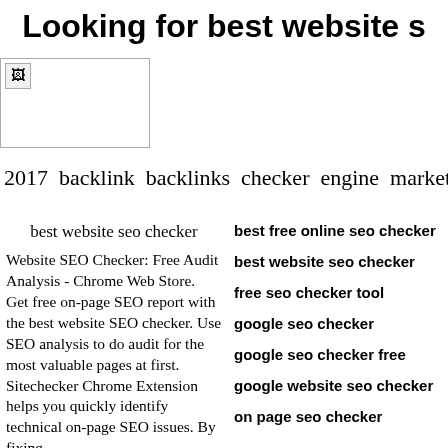Looking for best website s
[Figure (other): Broken image placeholder in top-left area]
2017  backlink  backlinks  checker  engine  marketing  optimiza
best website seo checker
Website SEO Checker: Free Audit Analysis - Chrome Web Store.
Get free on-page SEO report with the best website SEO checker. Use SEO analysis to do audit for the most valuable pages at first. Sitechecker Chrome Extension helps you quickly identify technical on-page SEO issues. By fixing
best free online seo checker
best website seo checker
free seo checker tool
google seo checker
google seo checker free
google website seo checker
on page seo checker